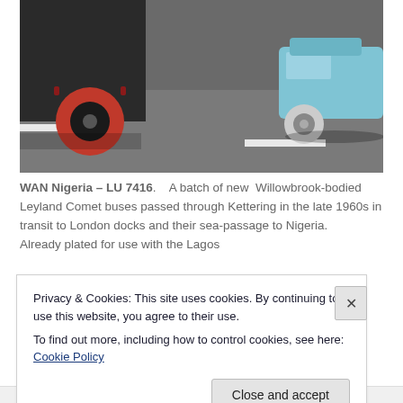[Figure (photo): Street scene showing vehicles on a road — a large vehicle with a red wheel on the left and a light blue small car on the right, on a road with white road markings.]
WAN Nigeria – LU 7416.   A batch of new  Willowbrook-bodied Leyland Comet buses passed through Kettering in the late 1960s in transit to London docks and their sea-passage to Nigeria.    Already plated for use with the Lagos
Privacy & Cookies: This site uses cookies. By continuing to use this website, you agree to their use.
To find out more, including how to control cookies, see here: Cookie Policy